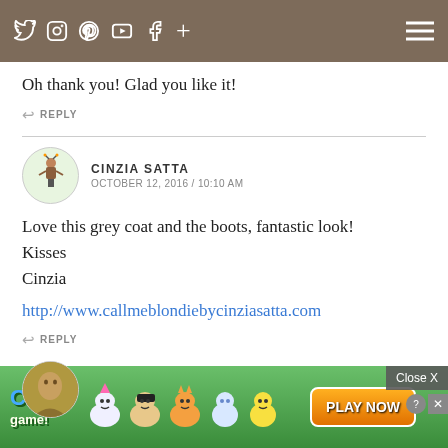Navigation bar with social icons: Twitter, Instagram, Pinterest, YouTube, Facebook, plus sign; hamburger menu
Oh thank you! Glad you like it!
REPLY
CINZIA SATTA
OCTOBER 12, 2016 / 10:10 AM
Love this grey coat and the boots, fantastic look!
Kisses
Cinzia
http://www.callmeblondiebycinziasatta.com
REPLY
LORNA
[Figure (screenshot): Cat Game mobile game advertisement banner with cartoon cats and 'PLAY NOW' button]